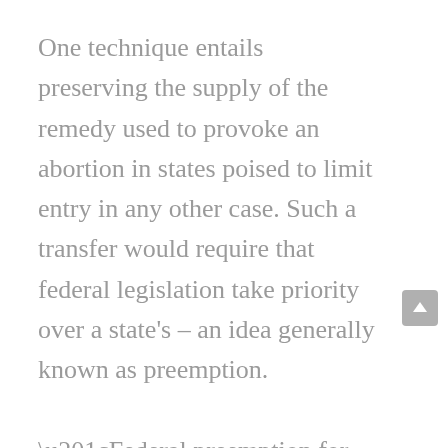One technique entails preserving the supply of the remedy used to provoke an abortion in states poised to limit entry in any other case. Such a transfer would require that federal legislation take priority over a state's – an idea generally known as preemption.

“Federal preemption for abortion medication is a highly innovative legal strategy with considerable uncertainty,” mentioned Lawrence Gostin, a professor of worldwide well being legislation at